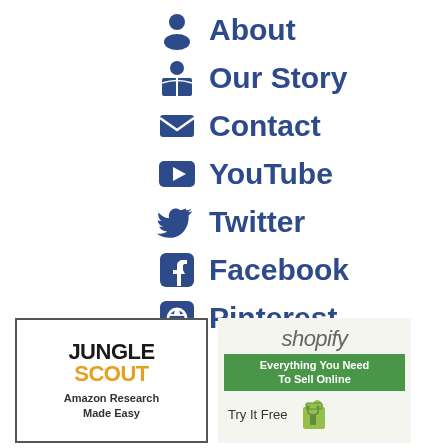About
Our Story
Contact
YouTube
Twitter
Facebook
Pinterest
[Figure (logo): Jungle Scout logo - Amazon Research Made Easy]
[Figure (logo): Shopify - Everything You Need To Sell Online - Try It Free]